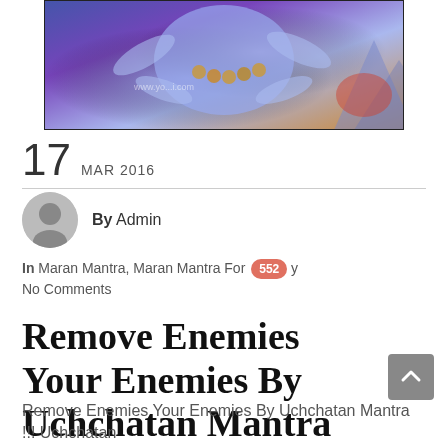[Figure (photo): A colorful religious illustration showing a multi-armed Hindu deity (Kali) with ornamental necklaces, set against a blue background.]
17 MAR 2016
By Admin
In Maran Mantra, Maran Mantra For  552  y
No Comments
Remove Enemies Your Enemies By Uchchatan Mantra !!!
Remove Enemies Your Enemies By Uchchatan Mantra !!! Uchchatan